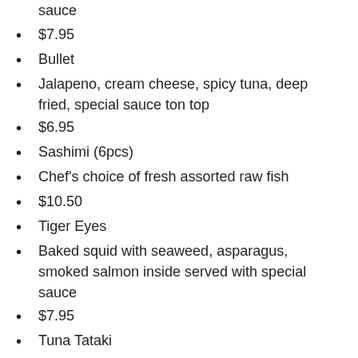sauce
$7.95
Bullet
Jalapeno, cream cheese, spicy tuna, deep fried, special sauce ton top
$6.95
Sashimi (6pcs)
Chef's choice of fresh assorted raw fish
$10.50
Tiger Eyes
Baked squid with seaweed, asparagus, smoked salmon inside served with special sauce
$7.95
Tuna Tataki
Lighty roasted- cooked to your preferred rawness
$9.95